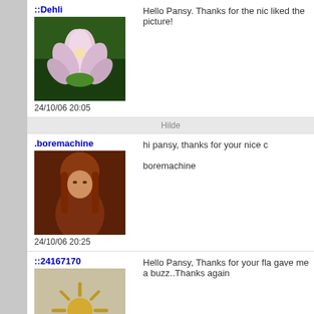::Dehli
[Figure (photo): Avatar photo of a lotus flower]
24/10/06 20:05
Hello Pansy. Thanks for the nic liked the picture!
Hilde
.boremachine
[Figure (photo): Avatar photo of a person with long reddish hair]
24/10/06 20:25
hi pansy, thanks for your nice c boremachine
::24167170
[Figure (photo): Avatar image of a stylized sun/star shape]
24/10/06 20:43
Hello Pansy, Thanks for your fla gave me a buzz..Thanks again
Be true to yourself. See:- My Gallery:- go
.egggray
[Figure (photo): Avatar photo of a butterfly on flowers]
24/10/06 23:33
Hi there Pansy, thank you for c comments you left. Very much Welcome to Caedes, where art here, We are a little crazy, but y